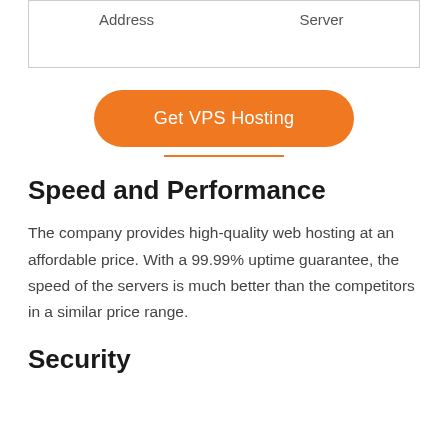| Address | Server |
| --- | --- |
[Figure (other): Orange rounded button labeled 'Get VPS Hosting' with an orange underline beneath it]
Speed and Performance
The company provides high-quality web hosting at an affordable price. With a 99.99% uptime guarantee, the speed of the servers is much better than the competitors in a similar price range.
Security